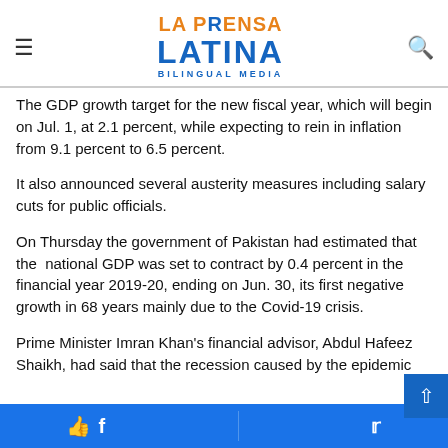La Prensa Latina Bilingual Media — navigation header with logo, hamburger menu, and search icon
The GDP growth target for the new fiscal year, which will begin on Jul. 1, at 2.1 percent, while expecting to rein in inflation from 9.1 percent to 6.5 percent.
It also announced several austerity measures including salary cuts for public officials.
On Thursday the government of Pakistan had estimated that the national GDP was set to contract by 0.4 percent in the financial year 2019-20, ending on Jun. 30, its first negative growth in 68 years mainly due to the Covid-19 crisis.
Prime Minister Imran Khan's financial advisor, Abdul Hafeez Shaikh, had said that the recession caused by the epidemic has resulted in a more dramatic contraction than expected.
Facebook share button | Twitter share button